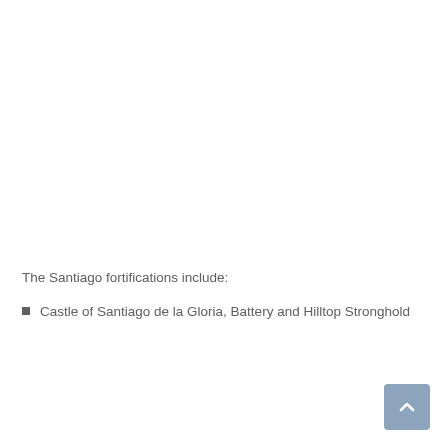The Santiago fortifications include:
Castle of Santiago de la Gloria, Battery and Hilltop Stronghold